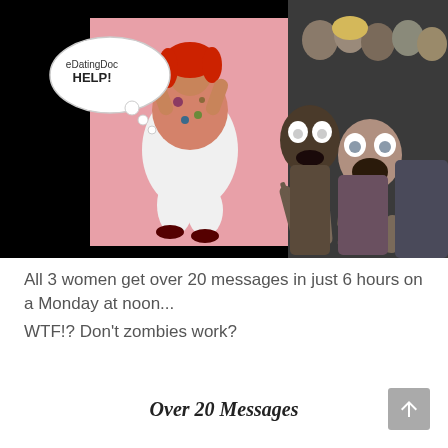[Figure (photo): Composite image: left side shows a woman with red hair in a floral top and white shorts kneeling on a pink background, with a speech bubble reading 'eDatingDoc HELP!'. Right side shows a crowd of zombie-like people reaching forward, all on a black background.]
All 3 women get over 20 messages in just 6 hours on a Monday at noon...
WTF!? Don't zombies work?
Over 20 Messages